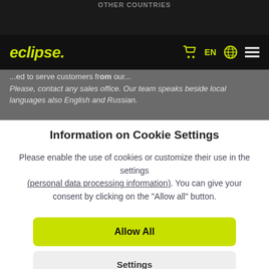OTHER COUNTRIES
[Figure (screenshot): Eclipse website navigation bar with logo, cart icon, EN language selector, globe icon, and hamburger menu on dark background]
...ed to serve customers fr... our... Please, contact any sales office. Our team speaks beside local languages also English and Russian.
Information on Cookie Settings
Please enable the use of cookies or customize their use in the settings (personal data processing information). You can give your consent by clicking on the "Allow all" button.
Allow All
Settings